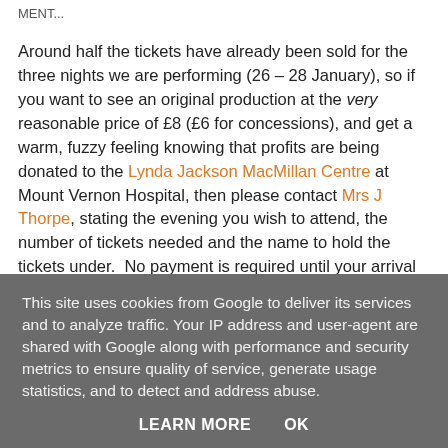MENT...
Around half the tickets have already been sold for the three nights we are performing (26 – 28 January), so if you want to see an original production at the very reasonable price of £8 (£6 for concessions), and get a warm, fuzzy feeling knowing that profits are being donated to the Lynda Jackson MacMillan Centre at Mount Vernon Hospital, then please contact Mrs J Thorpe, stating the evening you wish to attend, the number of tickets needed and the name to hold the tickets under.  No payment is required until your arrival at the box office, so if you are unable to attend, please...
This site uses cookies from Google to deliver its services and to analyze traffic. Your IP address and user-agent are shared with Google along with performance and security metrics to ensure quality of service, generate usage statistics, and to detect and address abuse.
LEARN MORE    OK